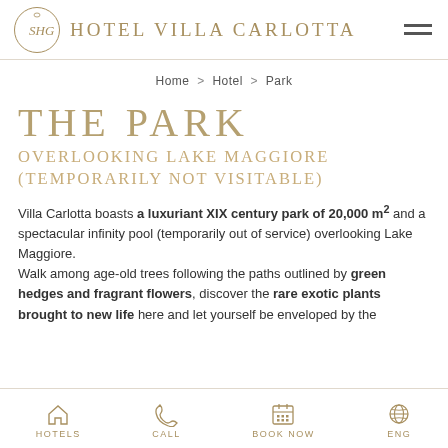Hotel Villa Carlotta
Home > Hotel > Park
THE PARK
OVERLOOKING LAKE MAGGIORE
(TEMPORARILY NOT VISITABLE)
Villa Carlotta boasts a luxuriant XIX century park of 20,000 m² and a spectacular infinity pool (temporarily out of service) overlooking Lake Maggiore.
Walk among age-old trees following the paths outlined by green hedges and fragrant flowers, discover the rare exotic plants brought to new life here and let yourself be enveloped by the
HOTELS  CALL  BOOK NOW  ENG